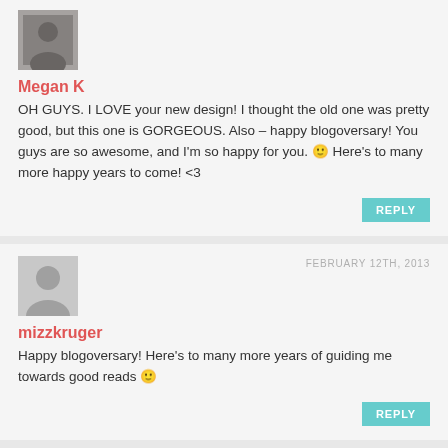[Figure (photo): Small photo of Megan K, a person on a street]
Megan K
OH GUYS. I LOVE your new design! I thought the old one was pretty good, but this one is GORGEOUS. Also – happy blogoversary! You guys are so awesome, and I'm so happy for you. 🙂 Here's to many more happy years to come! <3
REPLY
FEBRUARY 12TH, 2013
[Figure (illustration): Generic grey avatar placeholder silhouette]
mizzkruger
Happy blogoversary! Here's to many more years of guiding me towards good reads 🙂
REPLY
FEBRUARY 12TH, 2013